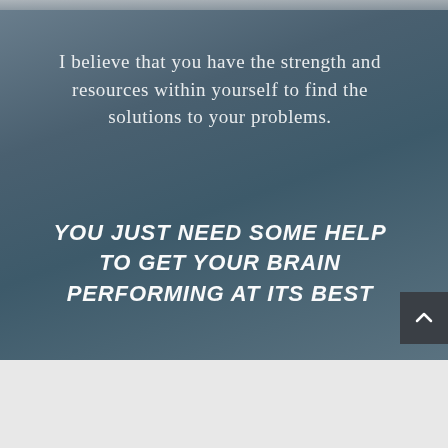I believe that you have the strength and resources within yourself to find the solutions to your problems.
YOU JUST NEED SOME HELP TO GET YOUR BRAIN PERFORMING AT ITS BEST